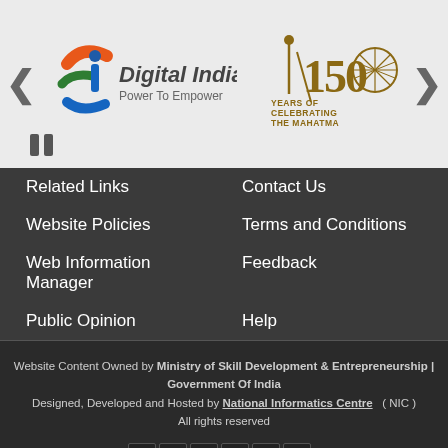[Figure (logo): Banner area with Digital India logo (Power To Empower) and 150 Years of Celebrating The Mahatma logo, with left/right navigation arrows and pause button]
Related Links
Contact Us
Website Policies
Terms and Conditions
Web Information Manager
Feedback
Public Opinion
Help
Website Content Owned by Ministry of Skill Development & Entrepreneurship | Government Of India
Designed, Developed and Hosted by National Informatics Centre ( NIC )
All rights reserved
Visitor Count : 2 6 2 3 7 8
BUILT ON CMF